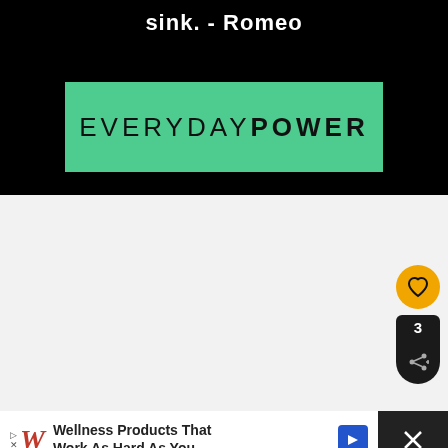sink. - Romeo
[Figure (logo): Everyday Power logo on teal/green background. Text reads EVERYDAY POWER with POWER in bold.]
[Figure (screenshot): Light grey content area with like button (orange circle with heart), share count showing 3, share button (dark circle with share icon), and What's Next panel showing Best William Shakespear... with avatar.]
[Figure (other): Advertisement bar at bottom: Walgreens logo in red italic, text: Wellness Products That Work As Hard As You, with blue arrow button and close X button on dark background.]